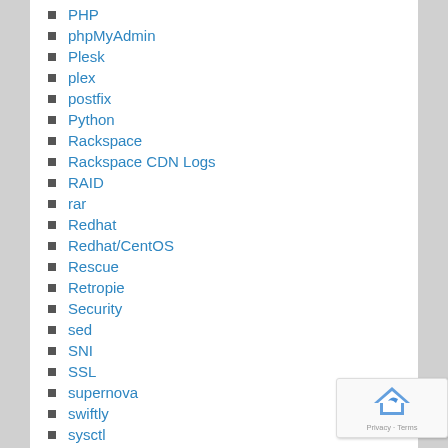PHP
phpMyAdmin
Plesk
plex
postfix
Python
Rackspace
Rackspace CDN Logs
RAID
rar
Redhat
Redhat/CentOS
Rescue
Retropie
Security
sed
SNI
SSL
supernova
swiftly
sysctl
Troubleshooting